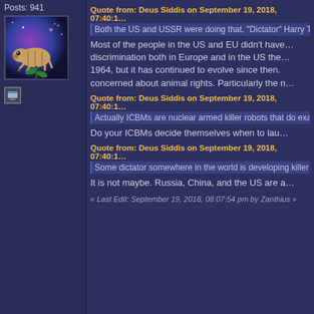Posts: 941
[Figure (photo): Avatar image of a tardigrade on a purple/blue cosmic background]
Quote from: Deus Siddis on September 19, 2018, 07:40:18
Both the US and USSR were doing that. "Dictator" Harry Tru…
Most of the people in the US and EU didn't have a particularly... discrimination both in Europe and in the US the... 1964, but it has continued to evolve since then... concerned about animal rights. Particularly the m...
Quote from: Deus Siddis on September 19, 2018, 07:40:18
Actually ICBMs are nuclear armed killer robots that do exactly…
Do your ICBMs decide themselves when to lau…
Quote from: Deus Siddis on September 19, 2018, 07:40:18
Some dictator somewhere in the world is developing killer ro…
It is not maybe. Russia, China, and the US are a…
« Last Edit: September 19, 2018, 08:07:54 pm by Zanthius »
Deus Siddis
Enlightened
★★★★★
Offline
Gender: ♂
Posts: 1387
Re: Augmented reality game to save t…
« Reply #33 on: September 19, 2018, 08:45:36 pm…
Quote from: Zanthius on September 19, 2018, 07:56:03 pm
Most of the people in the US and EU didn't have a particularly…
These peoples also lacked the threat of Mutually… Japanese had no ability to fight back in a threat…
Today, countries targeted by western power tha…